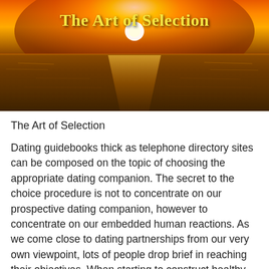[Figure (photo): Sunset over ocean with golden and orange sky reflecting on calm water. Bold yellow text 'The Art of Selection' overlaid at the top center of the image.]
The Art of Selection
Dating guidebooks thick as telephone directory sites can be composed on the topic of choosing the appropriate dating companion. The secret to the choice procedure is not to concentrate on our prospective dating companion, however to concentrate on our embedded human reactions. As we come close to dating partnerships from our very own viewpoint, lots of people drop brief in reaching their objectives. When starting to construct healthy